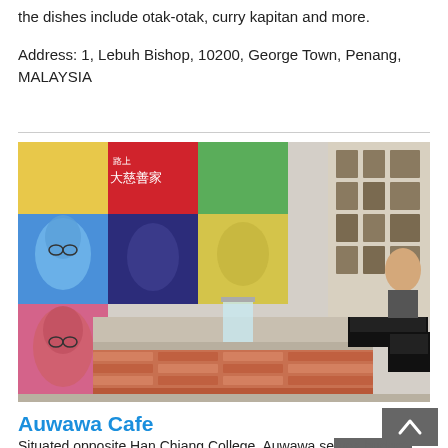the dishes include otak-otak, curry kapitan and more.
Address: 1, Lebuh Bishop, 10200, George Town, Penang, MALAYSIA
[Figure (photo): Interior of Auwawa Cafe showing a counter with espresso machines, a wall mural featuring pop-art style portraits of a man in multiple colorful panels (Chinese text visible: 大慈善家), framed photos on the right wall, and a barista in the background.]
Auwawa Cafe
Situated opposite Han Chiang College, Auwawa serves budget-friendly sandwiches and cakes. For something sweet on the side, there's the signature potted ice cream that is made up with layers of pandan sponge cake, vanilla ice cream and Oreo